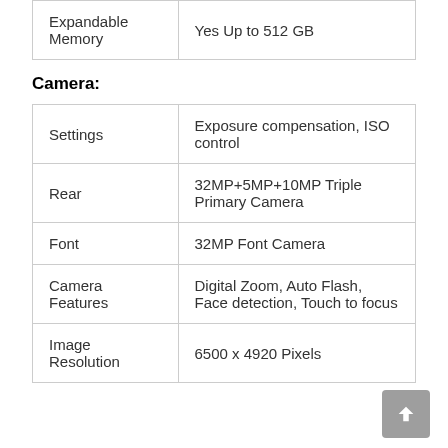|  |  |
| --- | --- |
| Expandable Memory | Yes Up to 512 GB |
Camera:
|  |  |
| --- | --- |
| Settings | Exposure compensation, ISO control |
| Rear | 32MP+5MP+10MP Triple Primary Camera |
| Font | 32MP Font Camera |
| Camera Features | Digital Zoom, Auto Flash, Face detection, Touch to focus |
| Image Resolution | 6500 x 4920 Pixels |